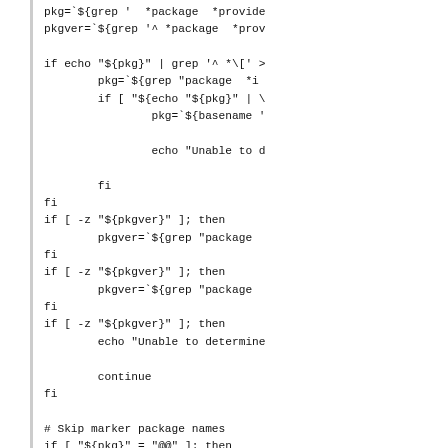[Figure (screenshot): Shell script source code snippet showing package version detection logic with grep, basename, echo statements, fi blocks, and directory creation logic. The code is partially cropped on the right side.]